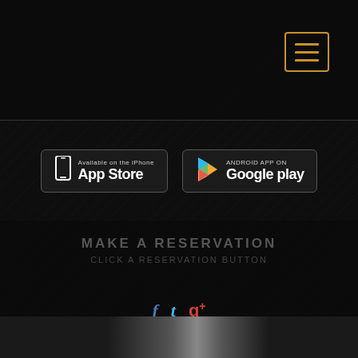[Figure (screenshot): Hamburger menu button with orange border and three horizontal orange lines, top-right corner]
[Figure (logo): App Store badge: Available on the iPhone App Store, dark background with phone icon]
[Figure (logo): Google Play badge: ANDROID APP ON Google play, dark background with colorful play triangle]
MAKE A RESERVATION
CLICK A RESERVATION BUTTON
[Figure (infographic): Social media icons: f (Facebook blue italic), t (Twitter blue italic), g+ (Google+ red)]
1 877 369 5466 Toll Free
Or send us an email info@griffintransportation.com